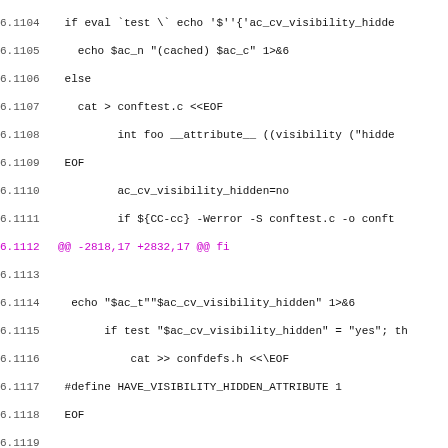Diff/patch code listing, lines 6.1104–6.1135, showing shell script configure checks for visibility hidden and pragma attributes.